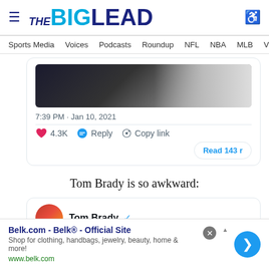THE BIG LEAD
Sports Media  Voices  Podcasts  Roundup  NFL  NBA  MLB  Viral In
[Figure (screenshot): Partial tweet screenshot showing bottom of an image, timestamp 7:39 PM · Jan 10, 2021, with 4.3K likes, Reply, Copy link actions, and Read 143 replies button]
Tom Brady is so awkward:
[Figure (screenshot): Start of a tweet card showing Tom Brady verified account avatar and name]
Belk.com - Belk® - Official Site
Shop for clothing, handbags, jewelry, beauty, home & more!
www.belk.com